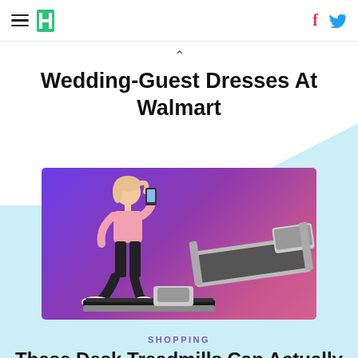HuffPost navigation with hamburger menu, logo, Facebook and Twitter icons
Wedding-Guest Dresses At Walmart
[Figure (photo): Product image of a desk treadmill on a purple-to-pink gradient background. A woman in a pink top and black leggings walks on a compact treadmill while looking at her phone. A flat, folded treadmill is shown on the right.]
SHOPPING
These Desk Treadmills Can Actually Make You Healthier